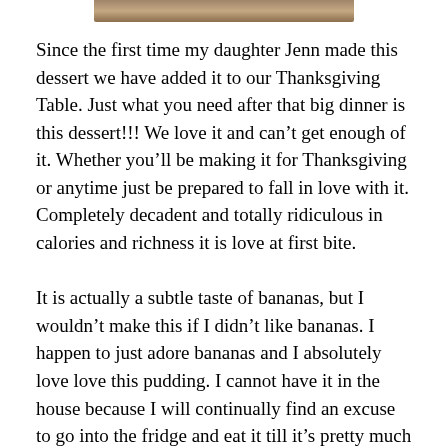[Figure (photo): Partial photo of a dessert dish, cropped at top of page]
Since the first time my daughter Jenn made this dessert we have added it to our Thanksgiving Table. Just what you need after that big dinner is this dessert!!! We love it and can't get enough of it. Whether you'll be making it for Thanksgiving or anytime just be prepared to fall in love with it. Completely decadent and totally ridiculous in calories and richness it is love at first bite.
It is actually a subtle taste of bananas, but I wouldn't make this if I didn't like bananas. I happen to just adore bananas and I absolutely love love this pudding. I cannot have it in the house because I will continually find an excuse to go into the fridge and eat it till it's pretty much all gone.  As full as I was last year and swearing I wasn't going to eat another thing for at least a week, when I saw this  pudding